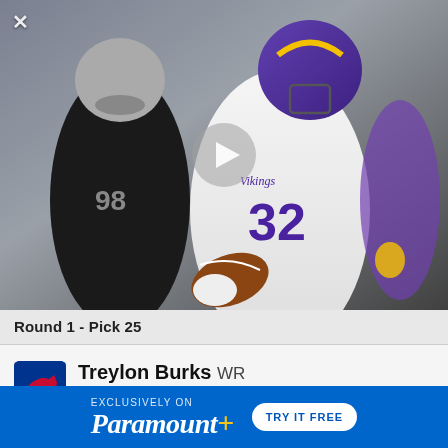[Figure (photo): NFL football action photo: Minnesota Vikings running back wearing purple helmet and white jersey number 32, carrying football, being pursued by Oakland Raiders defender wearing black jersey number 98. Play button overlay in center. Close (X) button top-left.]
Round 1 - Pick 25
[Figure (logo): Buffalo Bills NFL team logo - red charging buffalo on blue background]
Treylon Burks WR
ARKANSAS • 6'2" / 225 LBS
PROJECTED TEAM
Buffalo
PROSPECT RNK
15th
POSITION RNK
4th
[Figure (other): Paramount+ advertisement banner: blue background, 'EXCLUSIVELY ON Paramount+' with 'TRY IT FREE' button]